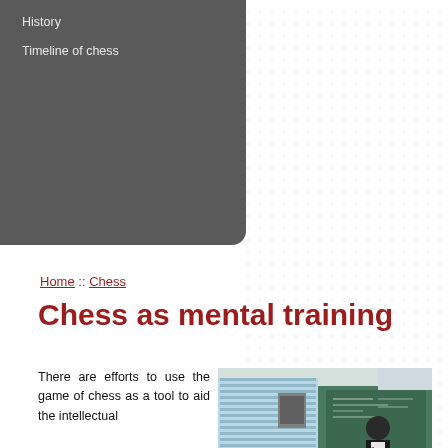History
Timeline of chess
Home :: Chess
Chess as mental training
There are efforts to use the game of chess as a tool to aid the intellectual
[Figure (photo): Students playing chess in a classroom with a teacher standing and supervising, with a projector screen and chalkboard in the background]